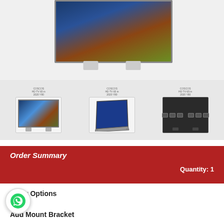[Figure (photo): Large TV display showing a landscape photo, viewed from front with silver stand legs]
[Figure (photo): Three thumbnail views of the same TV: front view, side/angled view, and rear view showing ports]
Order Summary
Quantity: 1
Color Options
Add Mount Bracket